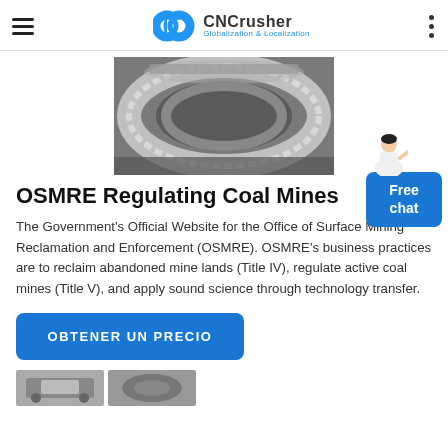CNCrusher Globalization & Localization
[Figure (photo): Metallic ring/gear component, likely a crusher or mill part, photographed on a factory floor. Silver/gray machined metal ring with teeth or serrations visible.]
OSMRE Regulating Coal Mines
The Government's Official Website for the Office of Surface Mining Reclamation and Enforcement (OSMRE). OSMRE's business practices are to reclaim abandoned mine lands (Title IV), regulate active coal mines (Title V), and apply sound science through technology transfer.
OBTENER UN PRECIO
[Figure (photo): Partial view of industrial crushing/mining equipment at the bottom of the page.]